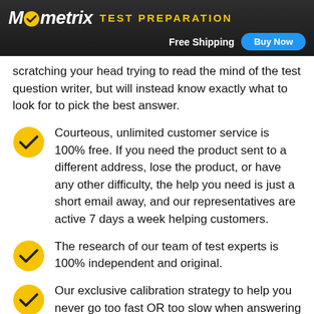Mometrix TEST PREPARATION | Free Shipping | Buy Now
scratching your head trying to read the mind of the test question writer, but will instead know exactly what to look for to pick the best answer.
Courteous, unlimited customer service is 100% free. If you need the product sent to a different address, lose the product, or have any other difficulty, the help you need is just a short email away, and our representatives are active 7 days a week helping customers.
The research of our team of test experts is 100% independent and original.
Our exclusive calibration strategy to help you never go too fast OR too slow when answering even the toughest questions